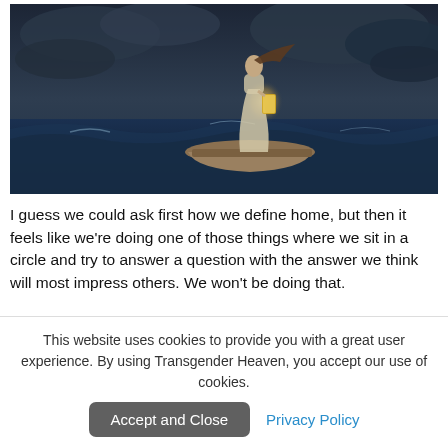[Figure (illustration): A woman in a white flowing dress standing in a small wooden boat on dark stormy ocean waters, holding a glowing lantern. Her long hair blows in the wind. The sky is dark and cloudy. The scene is painted in a fantasy/digital art style.]
I guess we could ask first how we define home, but then it feels like we're doing one of those things where we sit in a circle and try to answer a question with the answer we think will most impress others. We won't be doing that.
This website uses cookies to provide you with a great user experience. By using Transgender Heaven, you accept our use of cookies.